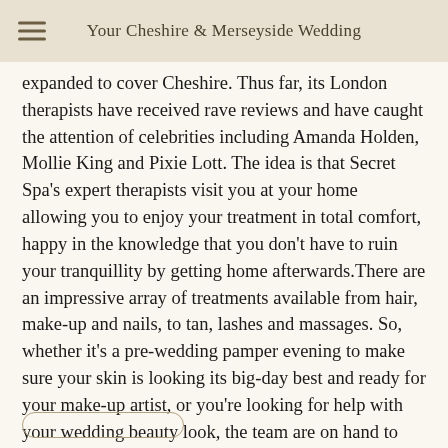Your Cheshire & Merseyside Wedding
expanded to cover Cheshire. Thus far, its London therapists have received rave reviews and have caught the attention of celebrities including Amanda Holden, Mollie King and Pixie Lott. The idea is that Secret Spa's expert therapists visit you at your home allowing you to enjoy your treatment in total comfort, happy in the knowledge that you don't have to ruin your tranquillity by getting home afterwards.There are an impressive array of treatments available from hair, make-up and nails, to tan, lashes and massages. So, whether it's a pre-wedding pamper evening to make sure your skin is looking its big-day best and ready for your make-up artist, or you're looking for help with your wedding beauty look, the team are on hand to make life easier.